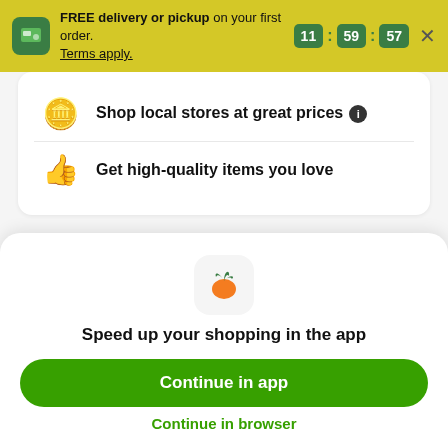FREE delivery or pickup on your first order. Terms apply. 11:59:57
Shop local stores at great prices
Get high-quality items you love
Browse more categories
Bloody Mary Mixers
Daiquiri Mixers
[Figure (logo): Instacart carrot app icon]
Speed up your shopping in the app
Continue in app
Continue in browser